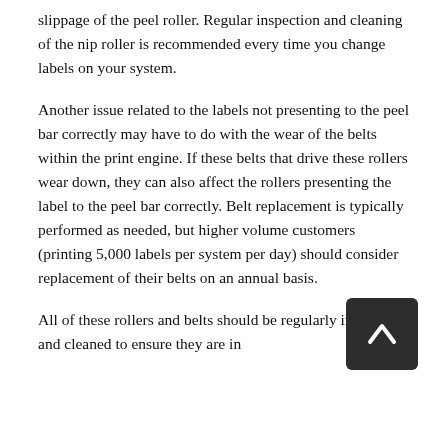slippage of the peel roller. Regular inspection and cleaning of the nip roller is recommended every time you change labels on your system.
Another issue related to the labels not presenting to the peel bar correctly may have to do with the wear of the belts within the print engine. If these belts that drive these rollers wear down, they can also affect the rollers presenting the label to the peel bar correctly. Belt replacement is typically performed as needed, but higher volume customers (printing 5,000 labels per system per day) should consider replacement of their belts on an annual basis.
All of these rollers and belts should be regularly inspected and cleaned to ensure they are in
[Figure (other): Dark square button with upward-pointing chevron/arrow icon (back-to-top navigation button)]